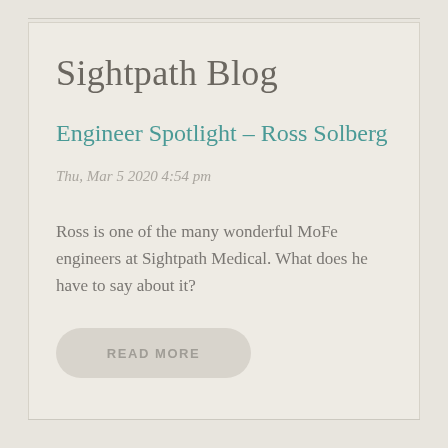Sightpath Blog
Engineer Spotlight – Ross Solberg
Thu, Mar 5 2020 4:54 pm
Ross is one of the many wonderful MoFe engineers at Sightpath Medical. What does he have to say about it?
READ MORE